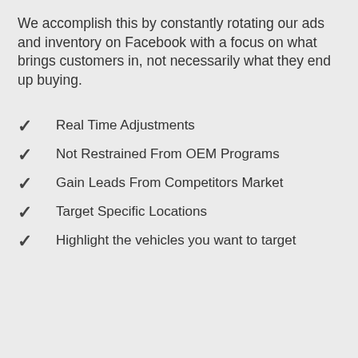We accomplish this by constantly rotating our ads and inventory on Facebook with a focus on what brings customers in, not necessarily what they end up buying.
Real Time Adjustments
Not Restrained From OEM Programs
Gain Leads From Competitors Market
Target Specific Locations
Highlight the vehicles you want to target